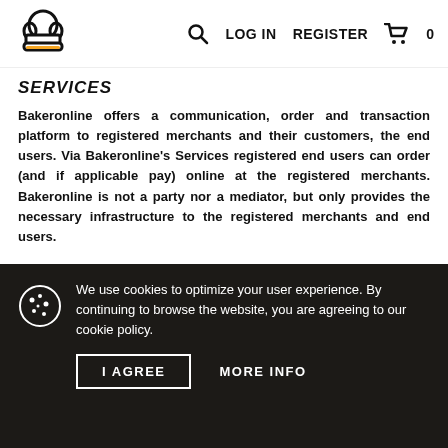LOG IN  REGISTER  0
SERVICES
Bakeronline offers a communication, order and transaction platform to registered merchants and their customers, the end users. Via Bakeronline's Services registered end users can order (and if applicable pay) online at the registered merchants. Bakeronline is not a party nor a mediator, but only provides the necessary infrastructure to the registered merchants and end users.
We use cookies to optimize your user experience. By continuing to browse the website, you are agreeing to our cookie policy.
I AGREE  MORE INFO